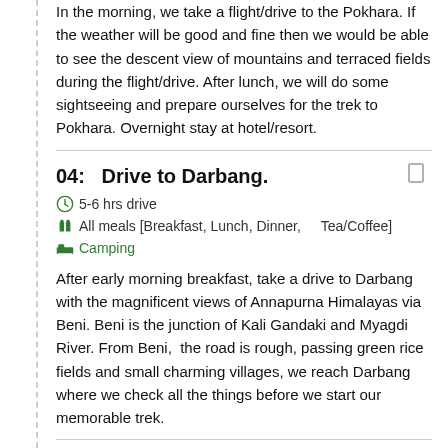In the morning, we take a flight/drive to the Pokhara. If the weather will be good and fine then we would be able to see the descent view of mountains and terraced fields during the flight/drive. After lunch, we will do some sightseeing and prepare ourselves for the trek to Pokhara. Overnight stay at hotel/resort.
04:   Drive to Darbang.
5-6 hrs drive   All meals [Breakfast, Lunch, Dinner, Tea/Coffee]   Camping
After early morning breakfast, take a drive to Darbang with the magnificent views of Annapurna Himalayas via Beni. Beni is the junction of Kali Gandaki and Myagdi River. From Beni,  the road is rough, passing green rice fields and small charming villages, we reach Darbang where we check all the things before we start our memorable trek.
05:  Trek to Dharapani [1490m]